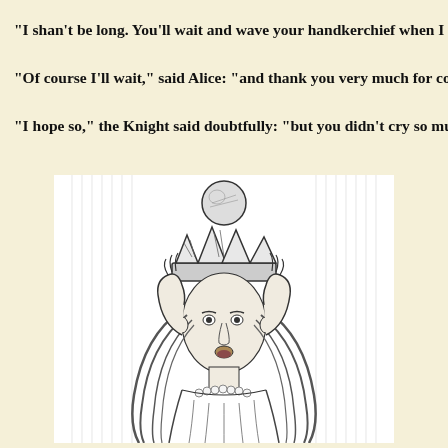"I shan't be long. You'll wait and wave your handkerchief when I get to th
"Of course I'll wait," said Alice: "and thank you very much for coming so
"I hope so," the Knight said doubtfully: "but you didn't cry so much as I
[Figure (illustration): Black and white engraving illustration of Alice placing a crown on her head, with long flowing hair and a pearl necklace, hands raised to her head holding the crown, wearing a dress, background with vertical hatching lines suggesting a formal setting.]